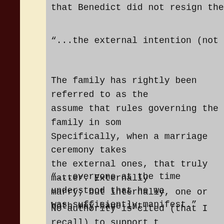that Benedict did not resign the office of the
"...the external intention (not a hidden intentio
The family has rightly been referred to as the assume that rules governing the family in som Specifically, when a marriage ceremony takes the external ones, that truly matter. Externally, marry; but internally, one or both may have int
"...everyone at the time understood that he wa was sufficiently manifest."
No authority is cited (that I recall) to support t he would act as he later did. And even if they reflect on them.